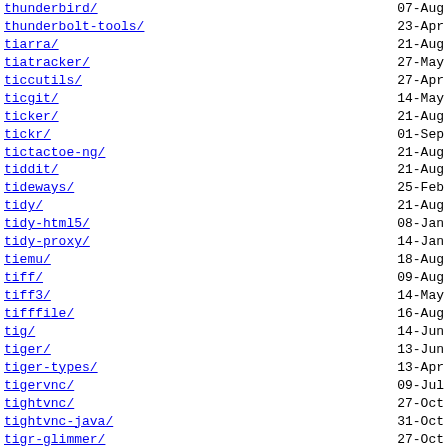thunderbird/ 07-Aug
thunderbolt-tools/ 23-Apr
tiarra/ 21-Aug
tiatracker/ 27-May
ticcutils/ 27-Apr
ticgit/ 14-May
ticker/ 21-Aug
tickr/ 01-Sep
tictactoe-ng/ 21-Aug
tiddit/ 21-Aug
tideways/ 25-Feb
tidy/ 21-Aug
tidy-html5/ 08-Jan
tidy-proxy/ 14-Jan
tiemu/ 18-Aug
tiff/ 09-Aug
tiff3/ 14-May
tifffile/ 16-Aug
tig/ 14-Jun
tiger/ 13-Jun
tiger-types/ 13-Apr
tigervnc/ 09-Jul
tightvnc/ 27-Oct
tightvnc-java/ 31-Oct
tigr-glimmer/ 27-Oct
tigris/ 06-Jan
tika/ 21-Aug
tikzit/ 25-Aug
tilda/ 21-Aug
tilde/ 31-May
tile/ 13-Apr